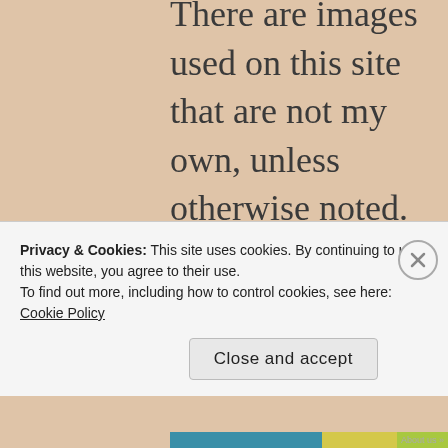There are images used on this site that are not my own, unless otherwise noted. These images were used with the understanding they were public domain or all attribution rules were followed. If there is an image appearing on this blog that belongs to you and do not wish for it appear on this site, please email with a link to said image and it will be promptly removed.
Privacy & Cookies: This site uses cookies. By continuing to use this website, you agree to their use.
To find out more, including how to control cookies, see here: Cookie Policy